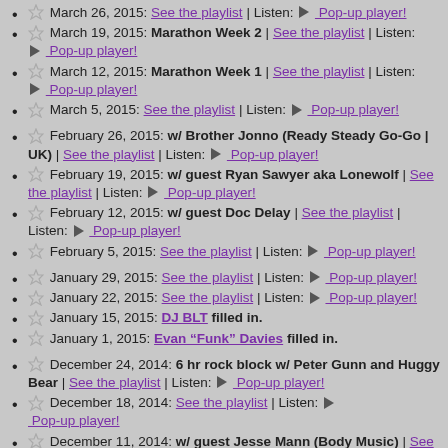March 26, 2015: See the playlist | Listen: ▶ Pop-up player!
March 19, 2015: Marathon Week 2 | See the playlist | Listen: ▶ Pop-up player!
March 12, 2015: Marathon Week 1 | See the playlist | Listen: ▶ Pop-up player!
March 5, 2015: See the playlist | Listen: ▶ Pop-up player!
February 26, 2015: w/ Brother Jonno (Ready Steady Go-Go | UK) | See the playlist | Listen: ▶ Pop-up player!
February 19, 2015: w/ guest Ryan Sawyer aka Lonewolf | See the playlist | Listen: ▶ Pop-up player!
February 12, 2015: w/ guest Doc Delay | See the playlist | Listen: ▶ Pop-up player!
February 5, 2015: See the playlist | Listen: ▶ Pop-up player!
January 29, 2015: See the playlist | Listen: ▶ Pop-up player!
January 22, 2015: See the playlist | Listen: ▶ Pop-up player!
January 15, 2015: DJ BLT filled in.
January 1, 2015: Evan "Funk" Davies filled in.
December 24, 2014: 6 hr rock block w/ Peter Gunn and Huggy Bear | See the playlist | Listen: ▶ Pop-up player!
December 18, 2014: See the playlist | Listen: ▶ Pop-up player!
December 11, 2014: w/ guest Jesse Mann (Body Music) | See the playlist | Listen: ▶ Pop-up player!